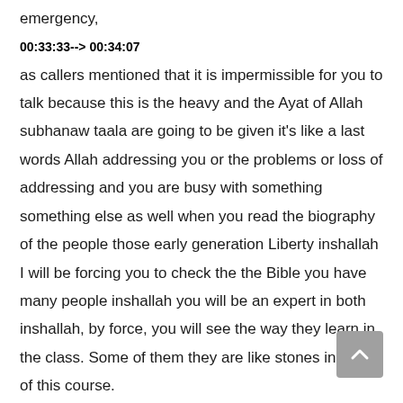emergency,
00:33:33--> 00:34:07
as callers mentioned that it is impermissible for you to talk because this is the heavy and the Ayat of Allah subhanaw taala are going to be given it's like a last words Allah addressing you or the problems or loss of addressing and you are busy with something something else as well when you read the biography of the people those early generation Liberty inshallah I will be forcing you to check the the Bible you have many people inshallah you will be an expert in both inshallah, by force, you will see the way they learn in the class. Some of them they are like stones in front of this course.
00:34:09--> 00:34:09
As a